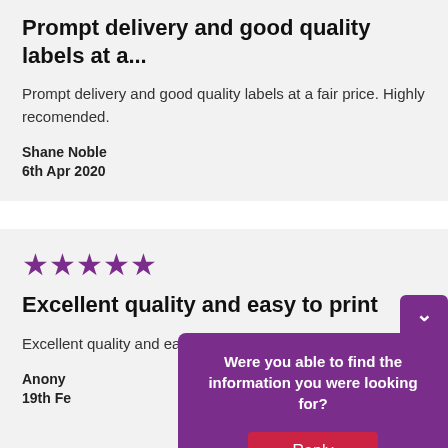Prompt delivery and good quality labels at a...
Prompt delivery and good quality labels at a fair price. Highly recomended.
Shane Noble
6th Apr 2020
[Figure (other): 5 purple star rating icons]
Excellent quality and easy to print
Excellent quality and easy to print
Anony...
19th Fe...
Were you able to find the information you were looking for?
Reply